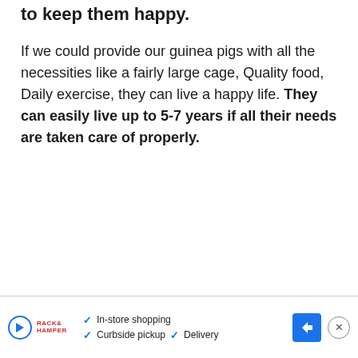to keep them happy.
If we could provide our guinea pigs with all the necessities like a fairly large cage, Quality food, Daily exercise, they can live a happy life. They can easily live up to 5-7 years if all their needs are taken care of properly.
[Figure (other): Advertisement banner showing a store with in-store shopping, curbside pickup, and delivery options with a navigation arrow icon]